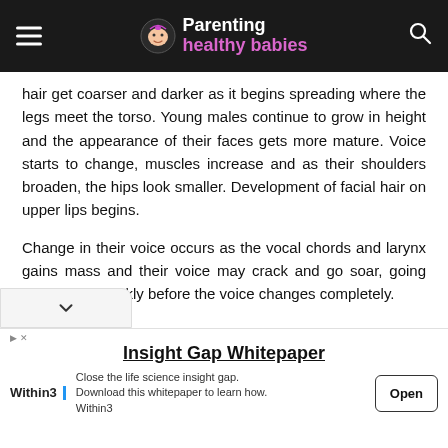Parenting healthy babies
hair get coarser and darker as it begins spreading where the legs meet the torso. Young males continue to grow in height and the appearance of their faces gets more mature. Voice starts to change, muscles increase and as their shoulders broaden, the hips look smaller. Development of facial hair on upper lips begins.
Change in their voice occurs as the vocal chords and larynx gains mass and their voice may crack and go soar, going high to low quickly before the voice changes completely.
[Figure (screenshot): Advertisement banner for Insight Gap Whitepaper by Within3. Text: 'Insight Gap Whitepaper', 'Close the life science insight gap. Download this whitepaper to learn how. Within3'. Contains Open button.]